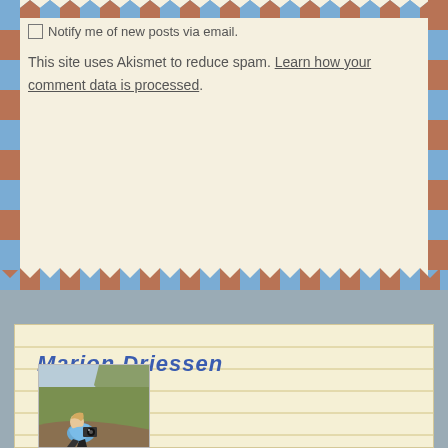☐ Notify me of new posts via email.
This site uses Akismet to reduce spam. Learn how your comment data is processed.
Marion Driessen
[Figure (photo): A person sitting on grass outdoors holding a camera, wearing a light blue jacket, with a coastal landscape in the background.]